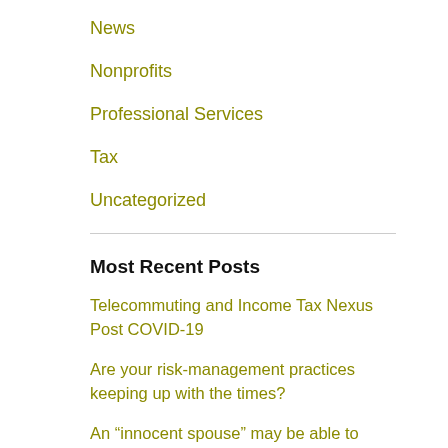News
Nonprofits
Professional Services
Tax
Uncategorized
Most Recent Posts
Telecommuting and Income Tax Nexus Post COVID-19
Are your risk-management practices keeping up with the times?
An “innocent spouse” may be able to escape tax